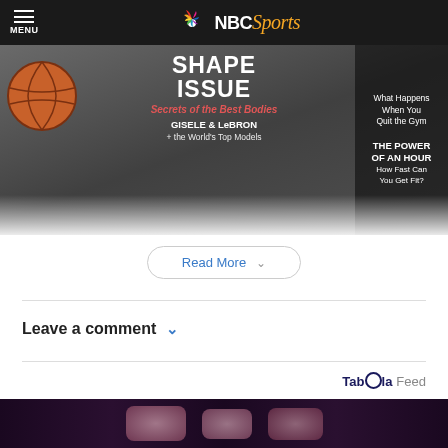MENU — NBC Sports
[Figure (photo): Magazine cover showing 'Shape Issue - Secrets of the Best Bodies, GISELE & LeBRON + the World's Top Models' with a basketball and fitness imagery. Right panel: 'What Happens When You Quit the Gym', 'THE POWER OF AN HOUR How Fast Can You Get Fit?']
Read More ∨
Leave a comment ∨
Taboola Feed
[Figure (photo): Close-up image of hands/nails with sparkly ring or nail art on dark background]